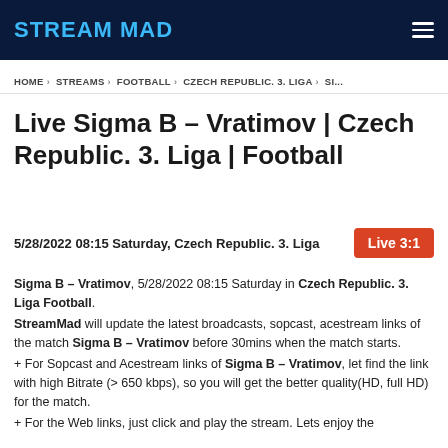STREAM MAD
HOME › STREAMS › FOOTBALL › CZECH REPUBLIC. 3. LIGA › SI...
Live Sigma B – Vratimov | Czech Republic. 3. Liga | Football
5/28/2022 08:15 Saturday, Czech Republic. 3. Liga  Live 3:1
Sigma B – Vratimov, 5/28/2022 08:15 Saturday in Czech Republic. 3. Liga Football. StreamMad will update the latest broadcasts, sopcast, acestream links of the match Sigma B – Vratimov before 30mins when the match starts.
+ For Sopcast and Acestream links of Sigma B – Vratimov, let find the link with high Bitrate (> 650 kbps), so you will get the better quality(HD, full HD) for the match.
+ For the Web links, just click and play the stream. Lets enjoy the